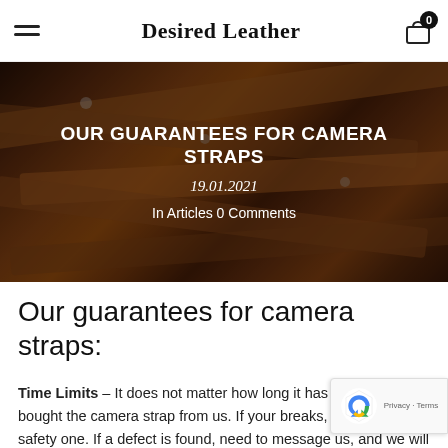Desired Leather
[Figure (photo): Dark background photo of brown leather camera straps with metal hardware, buckles and clasps, slightly blurred. Text overlaid: OUR GUARANTEES FOR CAMERA STRAPS, 19.01.2021, In Articles 0 Comments]
OUR GUARANTEES FOR CAMERA STRAPS
19.01.2021
In Articles 0 Comments
Our guarantees for camera straps:
Time Limits – It does not matter how long it has been since you bought the camera strap from us. If your breaks, main or the safety one. If a defect is found, need to message us, and we will send you a replacement